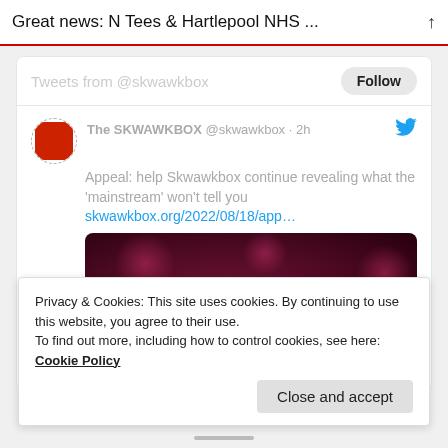Great news: N Tees & Hartlepool NHS ...
Tweets from @skwawkbox
The SKWAWKBOX @skwawkbox · 2h
Appeal: help Skwawkbox continue revealing what the 'mainstream' won't tell you
skwawkbox.org/2022/08/18/app…
[Figure (photo): Black and white hands picking red flowers against a dark reddish-purple bokeh background]
Privacy & Cookies: This site uses cookies. By continuing to use this website, you agree to their use.
To find out more, including how to control cookies, see here: Cookie Policy